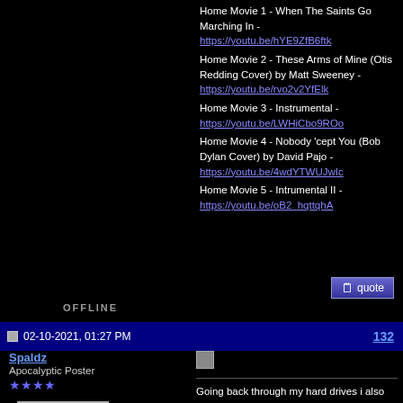Home Movie 1 - When The Saints Go Marching In - https://youtu.be/hYE9ZfB6ftk
Home Movie 2 - These Arms of Mine (Otis Redding Cover) by Matt Sweeney - https://youtu.be/rvo2v2YfElk
Home Movie 3 - Instrumental - https://youtu.be/LWHiCbo9ROo
Home Movie 4 - Nobody 'cept You (Bob Dylan Cover) by David Pajo - https://youtu.be/4wdYTWUJwIc
Home Movie 5 - Intrumental II - https://youtu.be/oB2_hqttqhA
OFFLINE
02-10-2021, 01:27 PM   132
Spaldz
Apocalyptic Poster
★★★★
Going back through my hard drives i also found my complete list of audio shows (FLAC/SHN) in a nice list. Must've had some organisation back in the day! All the Smashing Pumpkins shows should be on archive.org